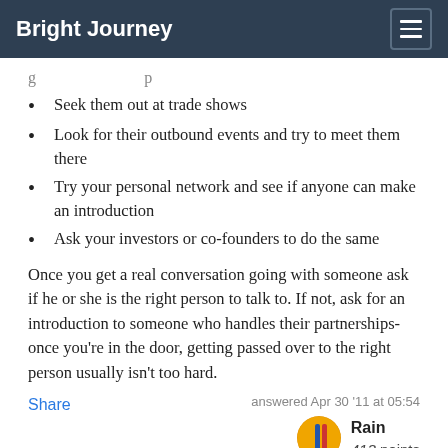Bright Journey
g ... p
Seek them out at trade shows
Look for their outbound events and try to meet them there
Try your personal network and see if anyone can make an introduction
Ask your investors or co-founders to do the same
Once you get a real conversation going with someone ask if he or she is the right person to talk to. If not, ask for an introduction to someone who handles their partnerships- once you're in the door, getting passed over to the right person usually isn't too hard.
Share | answered Apr 30 '11 at 05:54 | Rain | 413 points